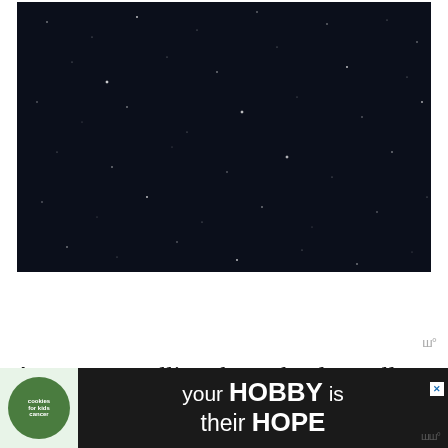[Figure (photo): A dark night sky photograph showing scattered stars and a very dark navy/black background with sparse white star points]
As you are pulling through, also pull
[Figure (other): Advertisement banner: cookies for kids cancer - your HOBBY is their HOPE]
through with those around you. Keep in